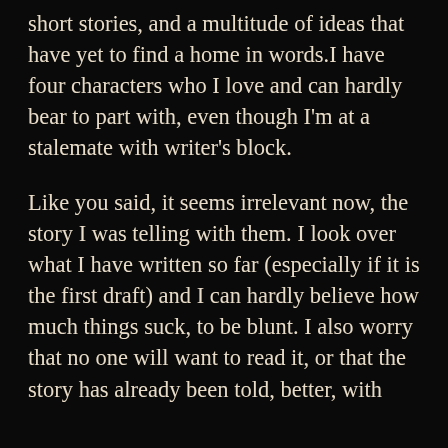short stories, and a multitude of ideas that have yet to find a home in words.I have four characters who I love and can hardly bear to part with, even though I'm at a stalemate with writer's block.
Like you said, it seems irrelevant now, the story I was telling with them. I look over what I have written so far (especially if it is the first draft) and I can hardly believe how much things suck, to be blunt. I also worry that no one will want to read it, or that the story has already been told, better, with